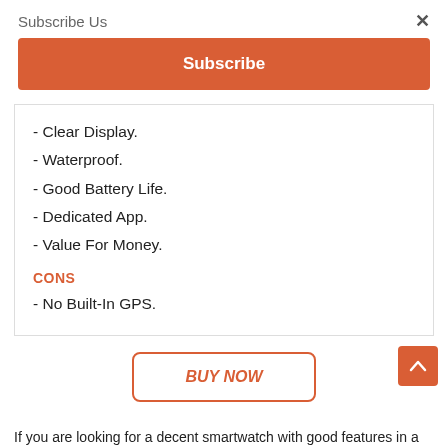Subscribe Us
×
Subscribe
- Clear Display.
- Waterproof.
- Good Battery Life.
- Dedicated App.
- Value For Money.
CONS
- No Built-In GPS.
BUY NOW
If you are looking for a decent smartwatch with good features in a